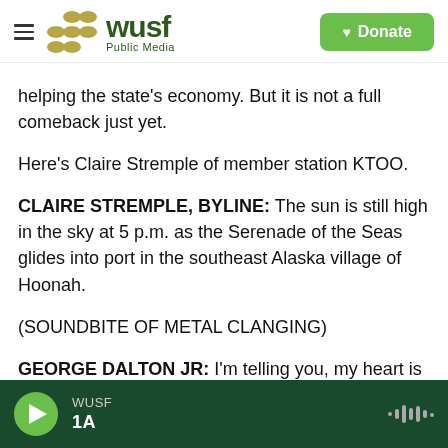WUSF Public Media — Donate
helping the state's economy. But it is not a full comeback just yet.
Here's Claire Stremple of member station KTOO.
CLAIRE STREMPLE, BYLINE: The sun is still high in the sky at 5 p.m. as the Serenade of the Seas glides into port in the southeast Alaska village of Hoonah.
(SOUNDBITE OF METAL CLANGING)
GEORGE DALTON JR: I'm telling you, my heart is pounding right now watching this ship tie up.
WUSF 1A — audio player